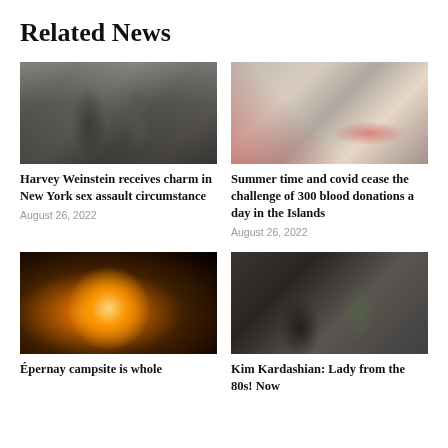Related News
[Figure (photo): Men in suits walking on a city street surrounded by crowd and cameras]
Harvey Weinstein receives charm in New York sex assault circumstance
August 26, 2022
[Figure (photo): Blood donation equipment including bags and tubes on a surface]
Summer time and covid cease the challenge of 300 blood donations a day in the Islands
August 26, 2022
[Figure (photo): Sparkler or firework with bright sparks against dark background]
Épernay campsite is whole
[Figure (photo): Woman with dark hair at a public event with cameras and people in background]
Kim Kardashian: Lady from the 80s! Now